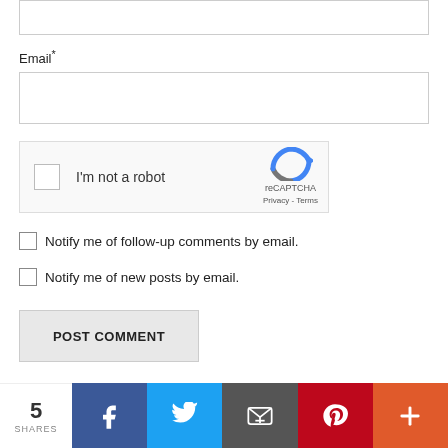[Figure (screenshot): Top portion of a text input field (partially visible at the top of the page)]
Email*
[Figure (screenshot): Email text input field]
[Figure (screenshot): reCAPTCHA widget with checkbox 'I'm not a robot', reCAPTCHA logo, Privacy - Terms]
Notify me of follow-up comments by email.
Notify me of new posts by email.
[Figure (screenshot): POST COMMENT button]
[Figure (infographic): Social share bar showing 5 SHARES, Facebook, Twitter, Email, Pinterest, and More (+) buttons]